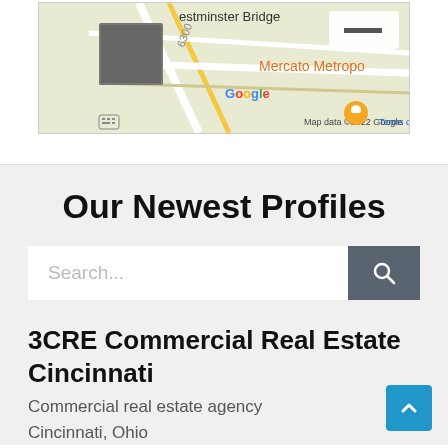[Figure (screenshot): Partial Google Maps screenshot showing Westminster Bridge area with Mercato Metropo label, Google logo, and map data copyright 2022 Google Terms of Use]
Our Newest Profiles
Search...
3CRE Commercial Real Estate Cincinnati
Commercial real estate agency
Cincinnati, Ohio